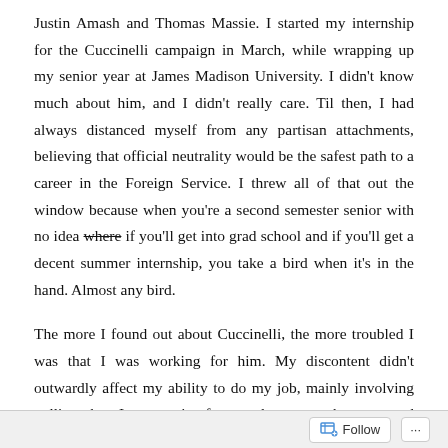Justin Amash and Thomas Massie. I started my internship for the Cuccinelli campaign in March, while wrapping up my senior year at James Madison University. I didn't know much about him, and I didn't really care. Til then, I had always distanced myself from any partisan attachments, believing that official neutrality would be the safest path to a career in the Foreign Service. I threw all of that out the window because when you're a second semester senior with no idea where [strikethrough] if you'll get into grad school and if you'll get a decent summer internship, you take a bird when it's in the hand. Almost any bird.
The more I found out about Cuccinelli, the more troubled I was that I was working for him. My discontent didn't outwardly affect my ability to do my job, mainly involving polling, but I was quite frustrated — my character and reputation are important to me, and by advocating his
Follow ···